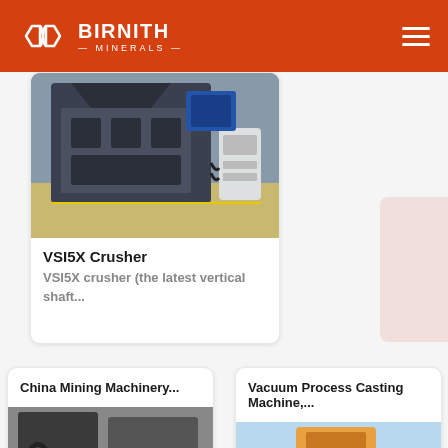BIRNITH MINERALS
[Figure (photo): Industrial VSI5X crusher machine in a factory setting, large black and gray metallic equipment with hoses and a small white auxiliary unit beside it]
VSI5X Crusher
VSI5X crusher (the latest vertical shaft...
China Mining Machinery...
[Figure (photo): China mining machinery equipment, dark metallic industrial machinery]
Vacuum Process Casting Machine,...
[Figure (photo): Vacuum process casting machine, light blue sky background with industrial equipment]